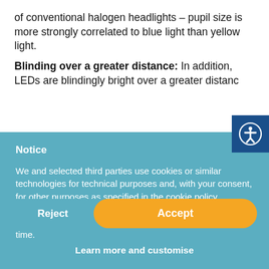of conventional halogen headlights – pupil size is more strongly correlated to blue light than yellow light.
Blinding over a greater distance: In addition, LEDs are blindingly bright over a greater distance than the halogen lighting they replace. Whil…
Notice
We and selected third parties use cookies or similar technologies for technical purposes and, with your consent, for other purposes as specified in the cookie policy. Denying consent may make related features unavailable.
You can freely give, deny, or withdraw your consent at any time.
Reject
Accept
Learn more and customise